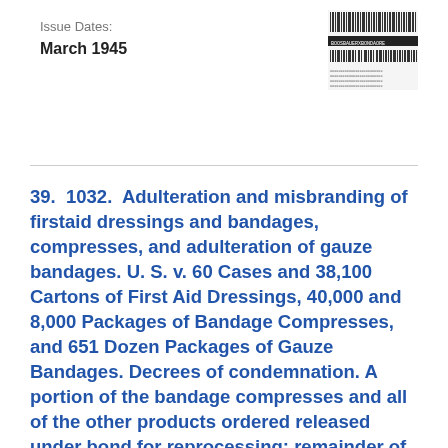Issue Dates:
March 1945
[Figure (other): Barcode / QR stamp in upper right corner]
39.  1032.  Adulteration and misbranding of firstaid dressings and bandages, compresses, and adulteration of gauze bandages. U. S. v. 60 Cases and 38,100 Cartons of First Aid Dressings, 40,000 and 8,000 Packages of Bandage Compresses, and 651 Dozen Packages of Gauze Bandages. Decrees of condemnation. A portion of the bandage compresses and all of the other products ordered released under bond for reprocessing; remainder of the bandage compresses ordered delivered to the Food and Drug Administration.